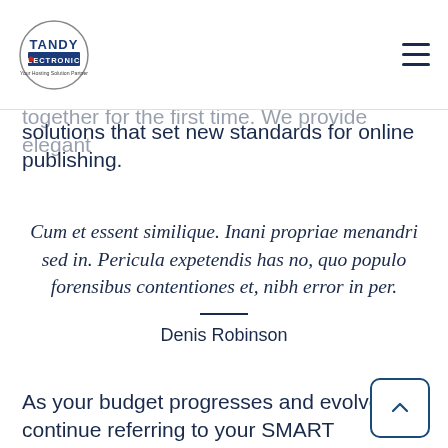Tandy Electronics – Your Hosting Solution Partner (navigation bar with logo and hamburger menu)
From the designers and engineers who are creating the next generation of web and mobile design to anyone putting a website together for the first time. We provide elegant solutions that set new standards for online publishing.
Cum et essent similique. Inani propriae menandri sed in. Pericula expetendis has no, quo populo forensibus contentiones et, nibh error in per.
Denis Robinson
As your budget progresses and evolves, continue referring to your SMART objectives. Stay focused and remember your goals – they